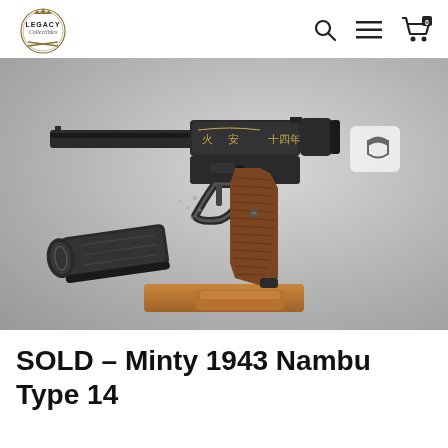Legacy Collectibles
[Figure (photo): Product photo of a 1943 Nambu Type 14 Japanese pistol with wooden grip panels, gold Japanese characters on the slide, and a detached magazine shown below, displayed on a wooden stand against a grey background.]
SOLD – Minty 1943 Nambu Type 14